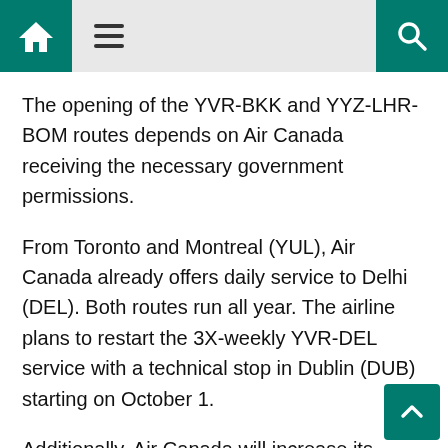[Home] [Menu] [Search]
The opening of the YVR-BKK and YYZ-LHR-BOM routes depends on Air Canada receiving the necessary government permissions.
From Toronto and Montreal (YUL), Air Canada already offers daily service to Delhi (DEL). Both routes run all year. The airline plans to restart the 3X-weekly YVR-DEL service with a technical stop in Dublin (DUB) starting on October 1.
Additionally, Air Canada will increase its service to South America and the South Pacific. Seasonal flights from the carrier to Auckland, Sydney, and Brisbane will resume. With flights from Montreal and Toronto to Lima, Peru, some seasonal service to South America is also anticipated to